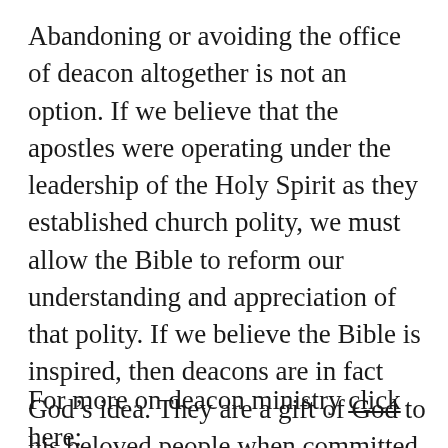Abandoning or avoiding the office of deacon altogether is not an option. If we believe that the apostles were operating under the leadership of the Holy Spirit as they established church polity, we must allow the Bible to reform our understanding and appreciation of that polity. If we believe the Bible is inspired, then deacons are in fact God’s idea. They are a gift of God to his beloved people when committed to and affirmed according to God’s design. When neglected or distorted, the whole church suffers.
For more on deacon ministry click here: